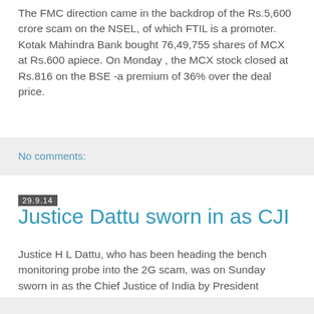The FMC direction came in the backdrop of the Rs.5,600 crore scam on the NSEL, of which FTIL is a promoter. Kotak Mahindra Bank bought 76,49,755 shares of MCX at Rs.600 apiece. On Monday , the MCX stock closed at Rs.816 on the BSE -a premium of 36% over the deal price.
No comments:
29.9.14
Justice Dattu sworn in as CJI
Justice H L Dattu, who has been heading the bench monitoring probe into the 2G scam, was on Sunday sworn in as the Chief Justice of India by President Pranab Mukherjee. He will have a tenure of 14 months. Justice Handyala Lakshminarayanaswamy Dattu, 63, graduated from a law college in Shimoga and started his legal profession in the Karnataka high court.